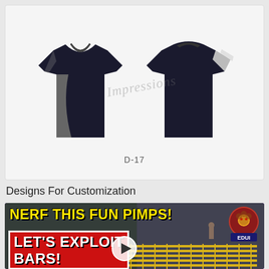[Figure (illustration): Two dark navy/black polo shirts shown front and back view with grey accent panels. Watermark text 'Impressions' overlaid. Label 'D-17' below.]
Designs For Customization
[Figure (screenshot): Video thumbnail with purple background, green game-like scene. Yellow bold text 'NERF THIS FUN PIMPS!' and red banner with white text 'LET'S EXPLOIT BARS!'. Play button in center. 'EDUI' badge logo top right with angry lion icon.]